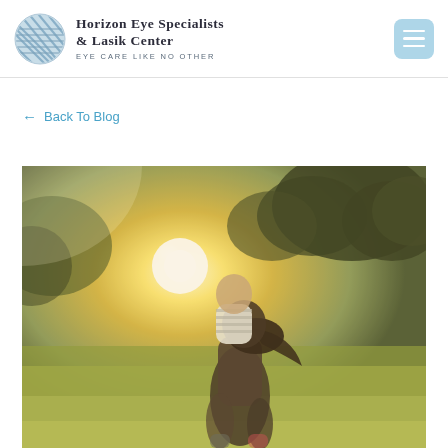Horizon Eye Specialists & Lasik Center — Eye Care Like No Other
← Back To Blog
[Figure (photo): Outdoor sunlit photo of a woman giving a child a piggyback ride on a grassy field with trees in the background, warm golden light]